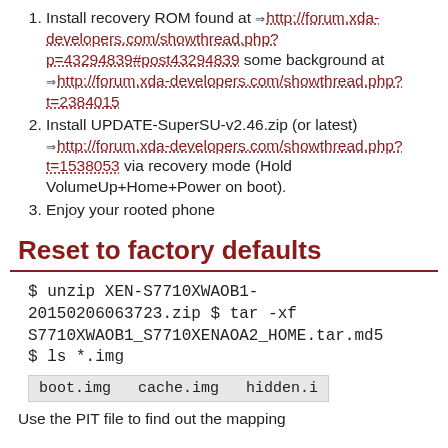Install recovery ROM found at http://forum.xda-developers.com/showthread.php?p=43294839#post43294839 some background at http://forum.xda-developers.com/showthread.php?t=2384015
Install UPDATE-SuperSU-v2.46.zip (or latest) http://forum.xda-developers.com/showthread.php?t=1538053 via recovery mode (Hold VolumeUp+Home+Power on boot).
Enjoy your rooted phone
Reset to factory defaults
$ unzip XEN-S7710XWAOB1-20150206063723.zip $ tar -xf S7710XWAOB1_S7710XENAOA2_HOME.tar.md5 $ ls *.img
boot.img   cache.img   hidden.i
Use the PIT file to find out the mapping